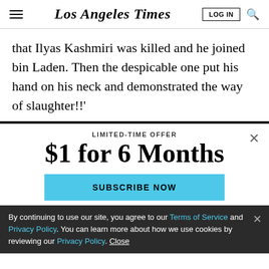Los Angeles Times
that Ilyas Kashmiri was killed and he joined bin Laden. Then the despicable one put his hand on his neck and demonstrated the way of slaughter!!'
LIMITED-TIME OFFER
$1 for 6 Months
SUBSCRIBE NOW
By continuing to use our site, you agree to our Terms of Service and Privacy Policy. You can learn more about how we use cookies by reviewing our Privacy Policy. Close